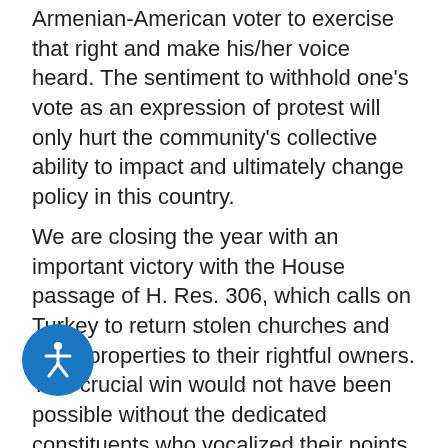Armenian-American voter to exercise that right and make his/her voice heard. The sentiment to withhold one's vote as an expression of protest will only hurt the community's collective ability to impact and ultimately change policy in this country.
We are closing the year with an important victory with the House passage of H. Res. 306, which calls on Turkey to return stolen churches and other properties to their rightful owners. This crucial win would not have been possible without the dedicated constituents who vocalized their points of view through communications with their elected officials. We must ensure that the power of the Armenian vote grows and becomes even louder as we enter the 2012 election cycle.
Our compatriots in France and Russia will also be heading to the polls for crucial presidential elections in both countries.
French President Nicolas Sarkozy's party was front and
[Figure (other): Blue circular accessibility button with a white person/accessibility icon in the center, positioned in the lower left area of the page.]